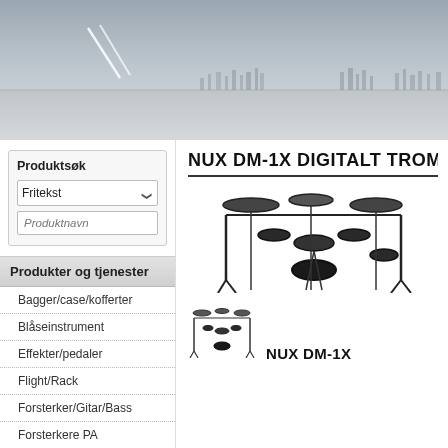[Figure (photo): Website header banner with a grey sky/cityscape panoramic photo]
Produktsøk
Fritekst (dropdown selector)
Produktnavn (search input placeholder)
Produkter og tjenester
Bagger/case/kofferter
Blåseinstrument
Effekter/pedaler
Flight/Rack
Forsterker/Gitar/Bass
Forsterkere PA
Hodetelefoner
Høyttalere
NUX DM-1X DIGITALT TROMM
[Figure (photo): Large image of NUX DM-1X digital drum kit, black electronic drum set]
[Figure (photo): Small thumbnail image of NUX DM-1X digital drum kit]
NUX DM-1X